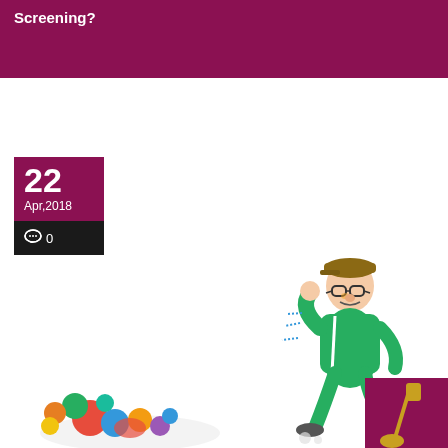Screening?
22
Apr,2018
0
[Figure (illustration): Cartoon illustration showing a person in a green tracksuit running/jogging with a cap and glasses, and on the left side a pile of colorful objects. A maroon shovel or flag icon appears at the bottom right.]